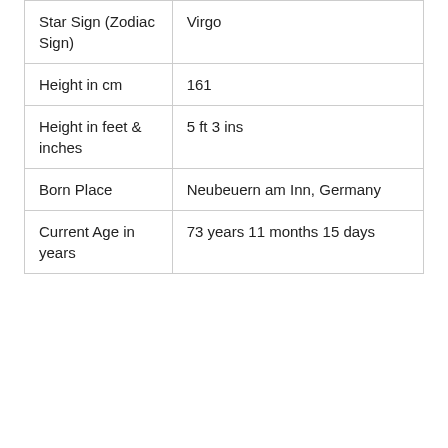| Star Sign (Zodiac Sign) | Virgo |
| Height in cm | 161 |
| Height in feet & inches | 5 ft 3 ins |
| Born Place | Neubeuern am Inn, Germany |
| Current Age in years | 73 years 11 months 15 days |